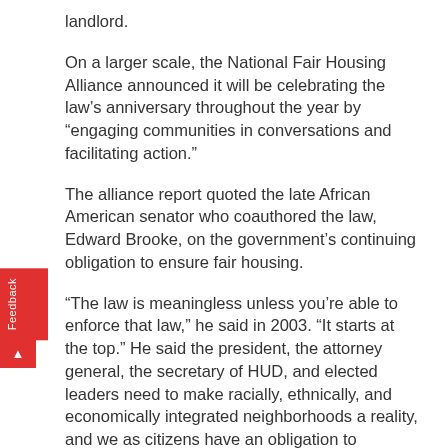landlord.
On a larger scale, the National Fair Housing Alliance announced it will be celebrating the law's anniversary throughout the year by "engaging communities in conversations and facilitating action."
The alliance report quoted the late African American senator who coauthored the law, Edward Brooke, on the government's continuing obligation to ensure fair housing.
“The law is meaningless unless you’re able to enforce that law,” he said in 2003. “It starts at the top.” He said the president, the attorney general, the secretary of HUD, and elected leaders need to make racially, ethnically, and economically integrated neighborhoods a reality, and we as citizens have an obligation to demand that change.”